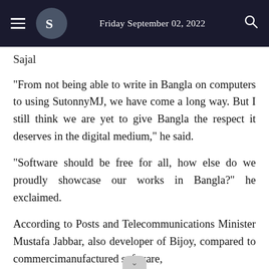Friday September 02, 2022
Sajal
"From not being able to write in Bangla on computers to using SutonnyMJ, we have come a long way. But I still think we are yet to give Bangla the respect it deserves in the digital medium," he said.
"Software should be free for all, how else do we proudly showcase our works in Bangla?" he exclaimed.
According to Posts and Telecommunications Minister Mustafa Jabbar, also developer of Bijoy, compared to commerci manufactured software,